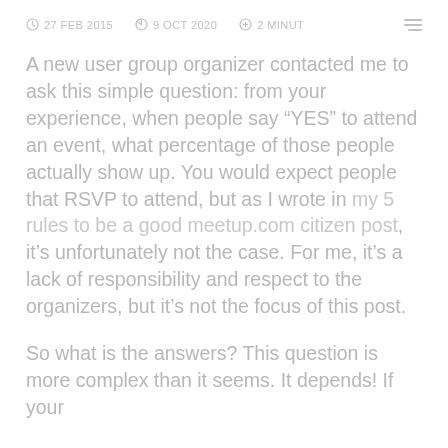27 FEB 2015   9 OCT 2020   2 MINUT
A new user group organizer contacted me to ask this simple question: from your experience, when people say “YES” to attend an event, what percentage of those people actually show up. You would expect people that RSVP to attend, but as I wrote in my 5 rules to be a good meetup.com citizen post, it’s unfortunately not the case. For me, it’s a lack of responsibility and respect to the organizers, but it’s not the focus of this post.
So what is the answers? This question is more complex than it seems. It depends! If your